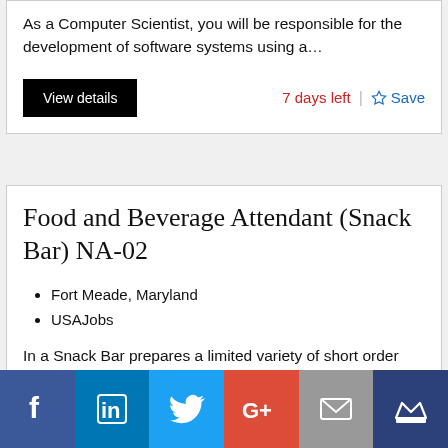As a Computer Scientist, you will be responsible for the development of software systems using a…
View details    7 days left   Save
Food and Beverage Attendant (Snack Bar) NA-02
Fort Meade, Maryland
USAJobs
In a Snack Bar prepares a limited variety of short order fast food items such as hamburgers, hot dogs, fish a…
View details    7 days left   Save
[Figure (infographic): Social media sharing bar with icons: Facebook, LinkedIn, Twitter, Google+, Email, and an app/crown icon]